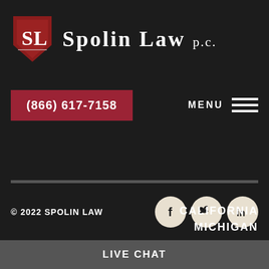[Figure (logo): Spolin Law P.C. shield logo with SL initials in red and white, beside firm name 'SPOLIN LAW P.C.' in white serif font on dark background]
(866) 617-7158
MENU
© 2022 SPOLIN LAW
[Figure (logo): Social media icons: Facebook (f), Twitter (bird), LinkedIn (in) in dark circles on cream/white background]
CALIFORNIA
MICHIGAN
LIVE CHAT